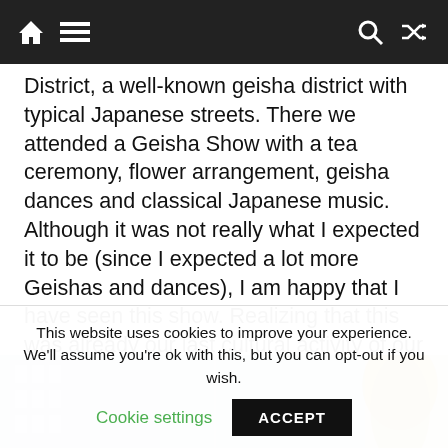Navigation bar with home, menu, search, and shuffle icons
District, a well-known geisha district with typical Japanese streets. There we attended a Geisha Show with a tea ceremony, flower arrangement, geisha dances and classical Japanese music. Although it was not really what I expected it to be (since I expected a lot more Geishas and dances), I am happy that I have seen this show. Realizing that this was already our last cultural activity of our IBT, we travelled back to Osaka.
[Figure (photo): Photo strip showing Japanese street scene on left and person with blonde hair on right]
This website uses cookies to improve your experience. We'll assume you're ok with this, but you can opt-out if you wish.
Cookie settings    ACCEPT